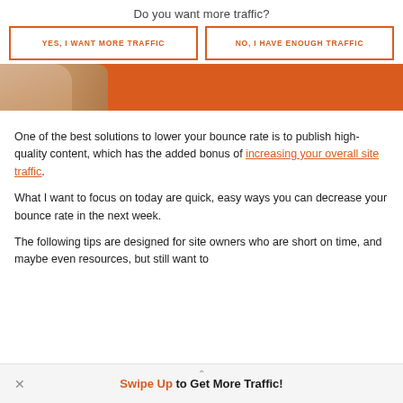Do you want more traffic?
YES, I WANT MORE TRAFFIC
NO, I HAVE ENOUGH TRAFFIC
[Figure (photo): Orange banner with person's arms crossed, partially visible on left side]
One of the best solutions to lower your bounce rate is to publish high-quality content, which has the added bonus of increasing your overall site traffic.
What I want to focus on today are quick, easy ways you can decrease your bounce rate in the next week.
The following tips are designed for site owners who are short on time, and maybe even resources, but still want to
Swipe Up to Get More Traffic!